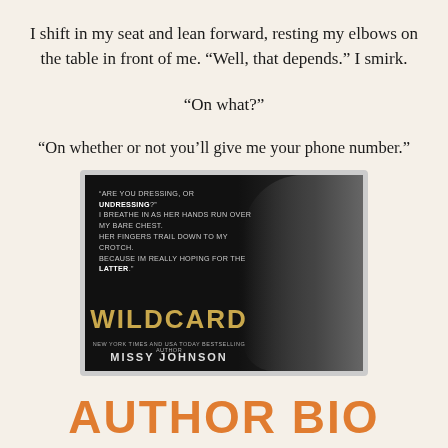I shift in my seat and lean forward, resting my elbows on the table in front of me. “Well, that depends.” I smirk.
“On what?”
“On whether or not you’ll give me your phone number.”
[Figure (illustration): Book promotional image for WILDCARD by Missy Johnson. Dark background with shirtless male torso on right side. Text overlay reads: 'ARE YOU DRESSING, OR UNDRESSING? I BREATHE IN AS HER HANDS RUN OVER MY BARE CHEST. HER FINGERS TRAIL DOWN TO MY CROTCH. BECAUSE IM REALLY HOPING FOR THE LATTER.' Title WILDCARD in gold letters, byline 'New York Times and USA Today Bestselling Author MISSY JOHNSON' in white.]
AUTHOR BIO